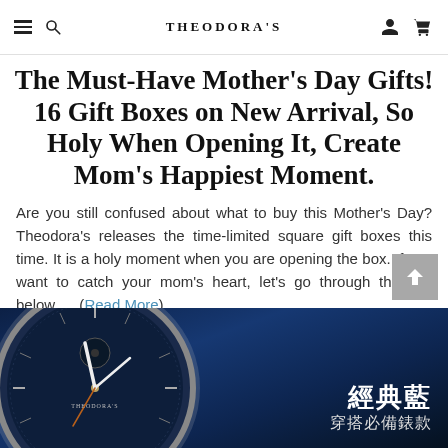THEODORA'S
The Must-Have Mother's Day Gifts! 16 Gift Boxes on New Arrival, So Holy When Opening It, Create Mom's Happiest Moment.
Are you still confused about what to buy this Mother's Day? Theodora's releases the time-limited square gift boxes this time. It is a holy moment when you are opening the box. If you want to catch your mom's heart, let's go through the tips below......(Read More)
[Figure (photo): Close-up of a Theodora's branded blue dial wristwatch with silver case on a dark blue background, with Chinese characters overlay reading '經典藍' and '穿搭必備錶款']